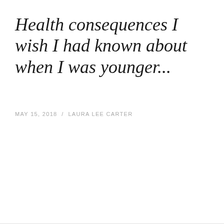Health consequences I wish I had known about when I was younger...
MAY 15, 2018 / LAURA LEE CARTER